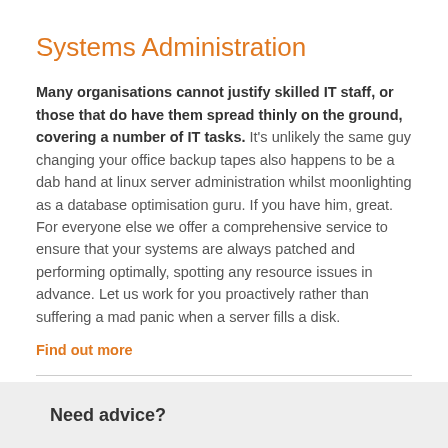Systems Administration
Many organisations cannot justify skilled IT staff, or those that do have them spread thinly on the ground, covering a number of IT tasks. It’s unlikely the same guy changing your office backup tapes also happens to be a dab hand at linux server administration whilst moonlighting as a database optimisation guru. If you have him, great. For everyone else we offer a comprehensive service to ensure that your systems are always patched and performing optimally, spotting any resource issues in advance. Let us work for you proactively rather than suffering a mad panic when a server fills a disk.
Find out more
Need advice?